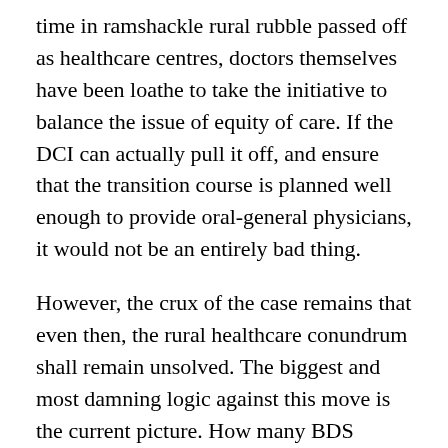time in ramshackle rural rubble passed off as healthcare centres, doctors themselves have been loathe to take the initiative to balance the issue of equity of care. If the DCI can actually pull it off, and ensure that the transition course is planned well enough to provide oral-general physicians, it would not be an entirely bad thing.
However, the crux of the case remains that even then, the rural healthcare conundrum shall remain unsolved. The biggest and most damning logic against this move is the current picture. How many BDS doctors themselves are willing to go and work in a rural setting where they shall hardly have access to any operating or diagnostic instruments? Very few. What is the guarantee that once they have been given the license to practice as MBBS doctors, they shall go down and fulfil the dual roles that they have been groomed for? And if they